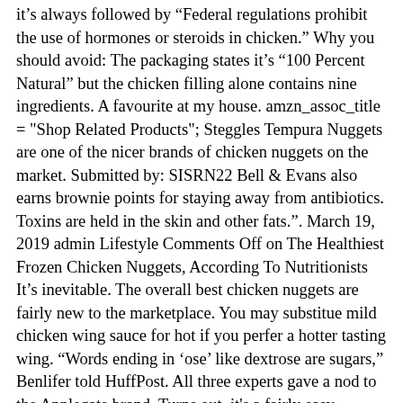itâ€™s always followed by â€œFederal regulations prohibit the use of hormones or steroids in chicken.â€ Why you should avoid: The packaging states itâ€™s â€100 Percent Naturalâ€ but the chicken filling alone contains nine ingredients. A favourite at my house. amzn_assoc_title = "Shop Related Products"; Steggles Tempura Nuggets are one of the nicer brands of chicken nuggets on the market. Submitted by: SISRN22 Bell & Evans also earns brownie points for staying away from antibiotics. Toxins are held in the skin and other fats.â€. March 19, 2019 admin Lifestyle Comments Off on The Healthiest Frozen Chicken Nuggets, According To Nutritionists Itâ€™s inevitable. The overall best chicken nuggets are fairly new to the marketplace. You may substitue mild chicken wing sauce for hot if you perfer a hotter tasting wing. â€Words ending in â€ₘoseâ€™ like dextrose are sugars,â€ Benlifer told HuffPost. All three experts gave a nod to the Applegate brand. Turns out, it's a fairly easy decision as long as you focus on the quality of the chicken itself. Itâ€™s inevitable. The breading uses bleached wheat flour, which has been stripped of nutrients. The products were served blind, two pieces per Spray with cooking spray (or melt butter/oil all over the pan). When shopping for better-for-you frozen chicken nuggets, Amy Gorin, MS, RDN, a